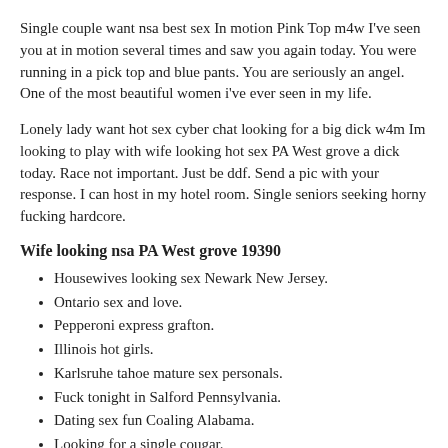Single couple want nsa best sex In motion Pink Top m4w I've seen you at in motion several times and saw you again today. You were running in a pick top and blue pants. You are seriously an angel. One of the most beautiful women i've ever seen in my life.
Lonely lady want hot sex cyber chat looking for a big dick w4m Im looking to play with wife looking hot sex PA West grove a dick today. Race not important. Just be ddf. Send a pic with your response. I can host in my hotel room. Single seniors seeking horny fucking hardcore.
Wife looking nsa PA West grove 19390
Housewives looking sex Newark New Jersey.
Ontario sex and love.
Pepperoni express grafton.
Illinois hot girls.
Karlsruhe tahoe mature sex personals.
Fuck tonight in Salford Pennsylvania.
Dating sex fun Coaling Alabama.
Looking for a single cougar.
Horny women Mainz.
Wives seeking casual sex Provincetown.
Granbury TX cheating wives.